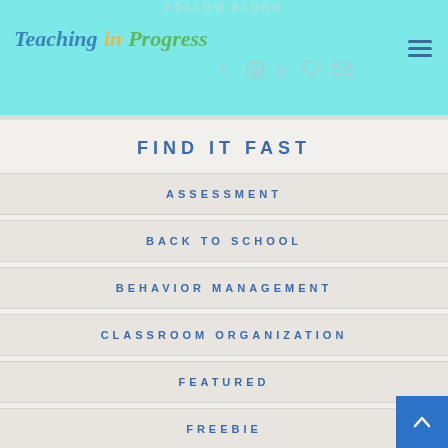FOLLOW ALONG
[Figure (logo): Teaching in Progress logo in italic script with blue, yellow, and green colors, with social media icons and hamburger menu]
FIND IT FAST
ASSESSMENT
BACK TO SCHOOL
BEHAVIOR MANAGEMENT
CLASSROOM ORGANIZATION
FEATURED
FREEBIE